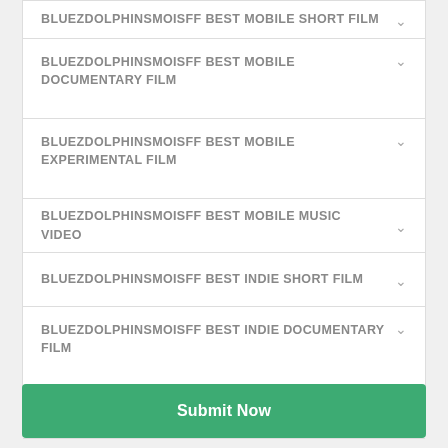BLUEZDOLPHINSMOISFF BEST MOBILE SHORT FILM
BLUEZDOLPHINSMOISFF BEST MOBILE DOCUMENTARY FILM
BLUEZDOLPHINSMOISFF BEST MOBILE EXPERIMENTAL FILM
BLUEZDOLPHINSMOISFF BEST MOBILE MUSIC VIDEO
BLUEZDOLPHINSMOISFF BEST INDIE SHORT FILM
BLUEZDOLPHINSMOISFF BEST INDIE DOCUMENTARY FILM
BLUEZDOLPHINSMOISFF BEST INDIE EXPERIMENTAL